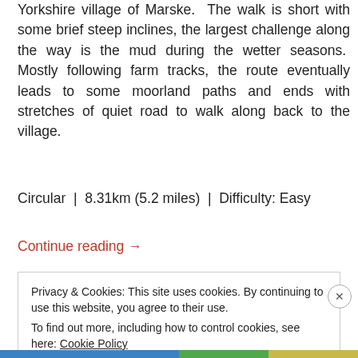Yorkshire village of Marske. The walk is short with some brief steep inclines, the largest challenge along the way is the mud during the wetter seasons. Mostly following farm tracks, the route eventually leads to some moorland paths and ends with stretches of quiet road to walk along back to the village.
Circular | 8.31km (5.2 miles) | Difficulty: Easy
Continue reading →
Privacy & Cookies: This site uses cookies. By continuing to use this website, you agree to their use.
To find out more, including how to control cookies, see here: Cookie Policy
Close and accept